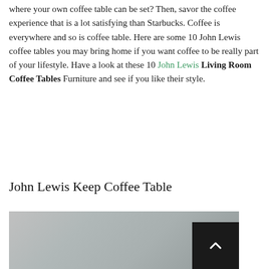where your own coffee table can be set? Then, savor the coffee experience that is a lot satisfying than Starbucks. Coffee is everywhere and so is coffee table. Here are some 10 John Lewis coffee tables you may bring home if you want coffee to be really part of your lifestyle. Have a look at these 10 John Lewis Living Room Coffee Tables Furniture and see if you like their style.
John Lewis Keep Coffee Table
[Figure (photo): Gray/silver colored image, partially visible, likely a coffee table photo]